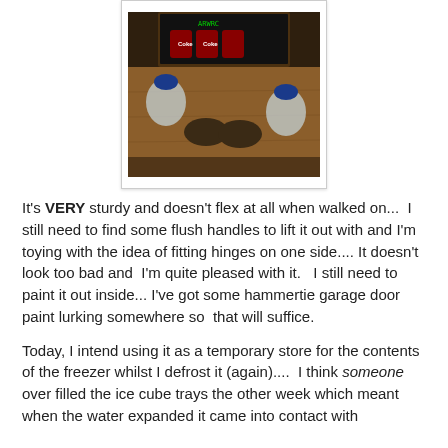[Figure (photo): Photo of a wooden box/storage unit viewed from above, containing bottles with blue caps and dark objects inside a wooden compartment with what appears to be canned items.]
It's VERY sturdy and doesn't flex at all when walked on...  I still need to find some flush handles to lift it out with and I'm toying with the idea of fitting hinges on one side.... It doesn't look too bad and  I'm quite pleased with it.   I still need to paint it out inside... I've got some hammertie garage door paint lurking somewhere so  that will suffice.
Today, I intend using it as a temporary store for the contents of the freezer whilst I defrost it (again)....  I think someone over filled the ice cube trays the other week which meant when the water expanded it came into contact with